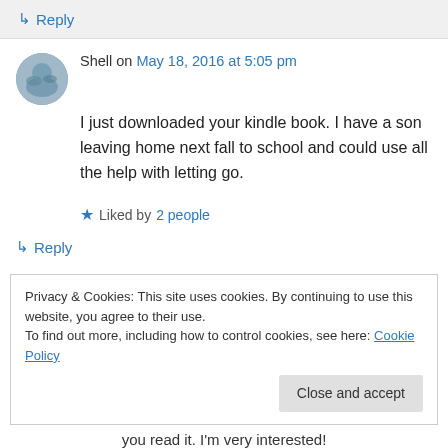↳ Reply
Shell on May 18, 2016 at 5:05 pm
I just downloaded your kindle book. I have a son leaving home next fall to school and could use all the help with letting go.
★ Liked by 2 people
↳ Reply
Privacy & Cookies: This site uses cookies. By continuing to use this website, you agree to their use. To find out more, including how to control cookies, see here: Cookie Policy
Close and accept
you read it. I'm very interested!